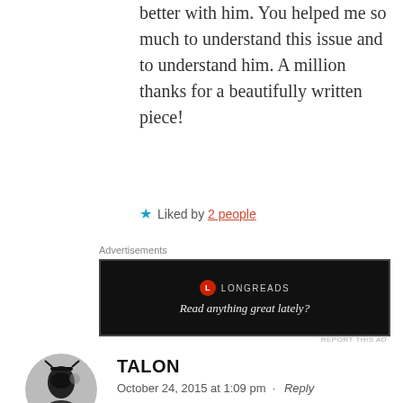better with him. You helped me so much to understand this issue and to understand him. A million thanks for a beautifully written piece!
★ Liked by 2 people
Advertisements
[Figure (other): Longreads advertisement banner: red circle logo with L, text 'LONGREADS', tagline 'Read anything great lately?' on black background]
REPORT THIS AD
TALON
October 24, 2015 at 1:09 pm · Reply
Thank you. Thank you so much, as an autistic parent raising an autistic daughter. I only made it through Thomas' story, so seriously. Thank you for watching and reading and giving honest and